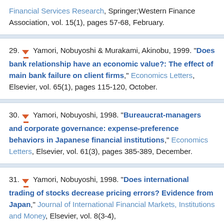Financial Services Research, Springer;Western Finance Association, vol. 15(1), pages 57-68, February.
29. Yamori, Nobuyoshi & Murakami, Akinobu, 1999. "Does bank relationship have an economic value?: The effect of main bank failure on client firms," Economics Letters, Elsevier, vol. 65(1), pages 115-120, October.
30. Yamori, Nobuyoshi, 1998. "Bureaucrat-managers and corporate governance: expense-preference behaviors in Japanese financial institutions," Economics Letters, Elsevier, vol. 61(3), pages 385-389, December.
31. Yamori, Nobuyoshi, 1998. "Does international trading of stocks decrease pricing errors? Evidence from Japan," Journal of International Financial Markets, Institutions and Money, Elsevier, vol. 8(3-4),